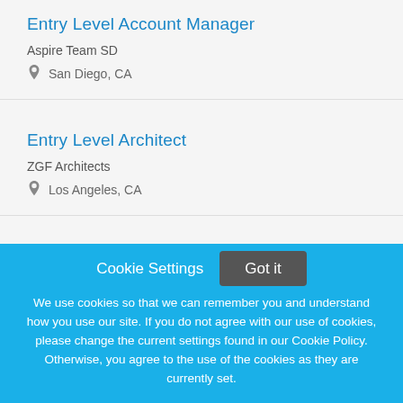Entry Level Account Manager
Aspire Team SD
San Diego, CA
Entry Level Architect
ZGF Architects
Los Angeles, CA
Cookie Settings
Got it
We use cookies so that we can remember you and understand how you use our site. If you do not agree with our use of cookies, please change the current settings found in our Cookie Policy. Otherwise, you agree to the use of the cookies as they are currently set.